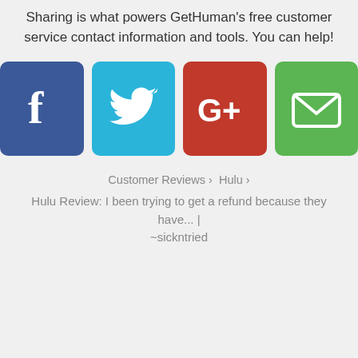Sharing is what powers GetHuman's free customer service contact information and tools. You can help!
[Figure (infographic): Four social share buttons: Facebook (blue), Twitter (cyan), Google+ (red), Email (green), each with white icons on colored rounded square backgrounds]
Customer Reviews › Hulu ›
Hulu Review: I been trying to get a refund because they have... | ~sickntried